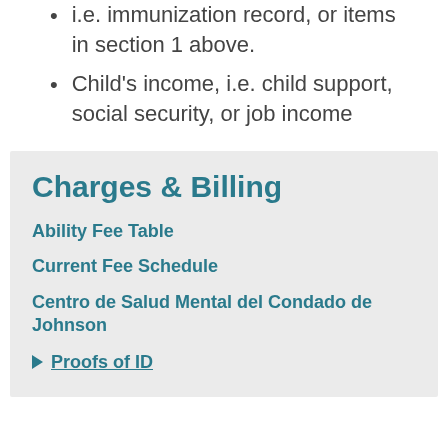i.e. immunization record, or items in section 1 above.
Child's income, i.e. child support, social security, or job income
Charges & Billing
Ability Fee Table
Current Fee Schedule
Centro de Salud Mental del Condado de Johnson
Proofs of ID